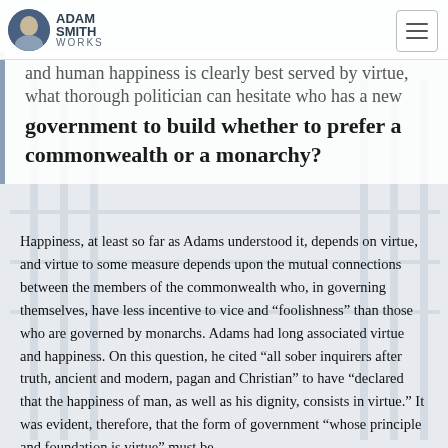Adam Smith Works
and human happiness is clearly best served by virtue, what thorough politician can hesitate who has a new government to build whether to prefer a commonwealth or a monarchy?
Happiness, at least so far as Adams understood it, depends on virtue, and virtue to some measure depends upon the mutual connections between the members of the commonwealth who, in governing themselves, have less incentive to vice and “foolishness” than those who are governed by monarchs. Adams had long associated virtue and happiness. On this question, he cited “all sober inquirers after truth, ancient and modern, pagan and Christian” to have “declared that the happiness of man, as well as his dignity, consists in virtue.” It was evident, therefore, that the form of government “whose principle and foundation is virtue” must be